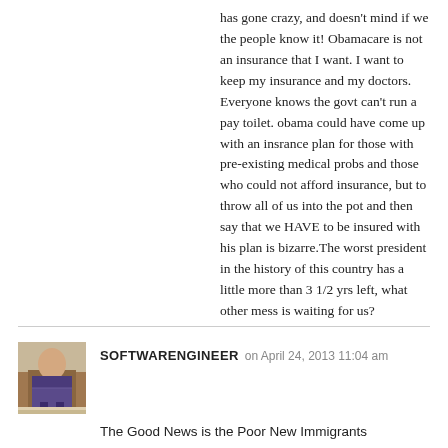has gone crazy, and doesn't mind if we the people know it! Obamacare is not an insurance that I want. I want to keep my insurance and my doctors. Everyone knows the govt can't run a pay toilet. obama could have come up with an insrance plan for those with pre-existing medical probs and those who could not afford insurance, but to throw all of us into the pot and then say that we HAVE to be insured with his plan is bizarre.The worst president in the history of this country has a little more than 3 1/2 yrs left, what other mess is waiting for us?
[Figure (photo): Avatar photo of a person standing in a kitchen]
SOFTWARENGINEER on April 24, 2013 11:04 am
The Good News is the Poor New Immigrants Don't Vote Too Often